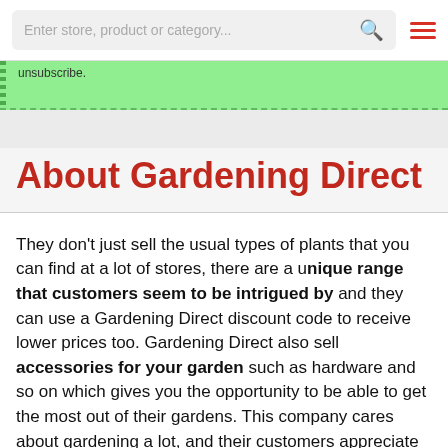Enter store, product or category...
unsubscribe.
About Gardening Direct
They don't just sell the usual types of plants that you can find at a lot of stores, there are a unique range that customers seem to be intrigued by and they can use a Gardening Direct discount code to receive lower prices too. Gardening Direct also sell accessories for your garden such as hardware and so on which gives you the opportunity to be able to get the most out of their gardens. This company cares about gardening a lot, and their customers appreciate this as they know that they are buying products from a genuine company who has a passion for the same thing that they do. Great quality